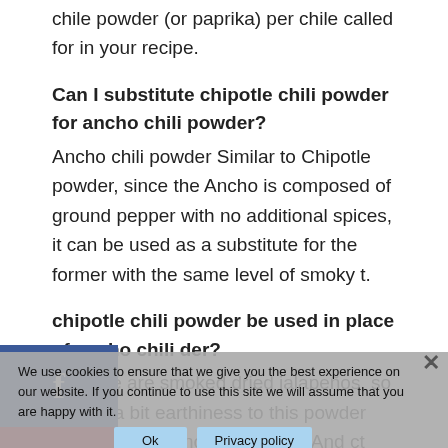chile powder (or paprika) per chile called for in your recipe.
Can I substitute chipotle chili powder for ancho chili powder?
Ancho chili powder Similar to Chipotle powder, since the Ancho is composed of ground pepper with no additional spices, it can be used as a substitute for the former with the same level of smoky t.
chipotle chili powder be used in place of ancho chili der?
Chipotle are smoked dried jalapeños, so there's a bit earthiness to this powder than even the ancho provides. And ct four to five times the heat since the chipotle SHU range runs from 2,500 to 8,000. Still, it's often right at your fingertips, so it's a good choice.
We use cookies to ensure that we give you the best experience on our website. If you continue to use this site we will assume that you are happy with it.
Is chili powder the same as ancho chili powder?
What is the difference between chili powder and ancho chile powder? Chili powder is a blend made from various ground spices including, but